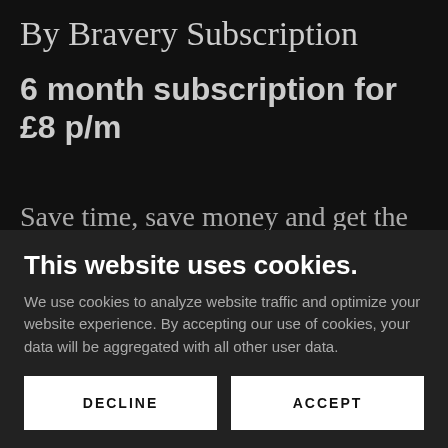By Bravery Subscription
6 month subscription for £8 p/m
Save time, save money and get the same great product!
This website uses cookies.
We use cookies to analyze website traffic and optimize your website experience. By accepting our use of cookies, your data will be aggregated with all other user data.
DECLINE
ACCEPT